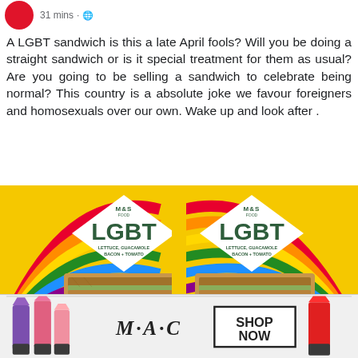31 mins · 🌐
A LGBT sandwich is this a late April fools? Will you be doing a straight sandwich or is it special treatment for them as usual? Are you going to be selling a sandwich to celebrate being normal? This country is a absolute joke we favour foreigners and homosexuals over our own. Wake up and look after .
[Figure (photo): M&S LGBT sandwich product packaging against a rainbow-colored background, showing two diamond-shaped packages labeled 'LGBT - Lettuce, Guacamole, Bacon + Tomato']
[Figure (photo): MAC cosmetics advertisement banner showing lipsticks, MAC logo, and a 'SHOP NOW' button]